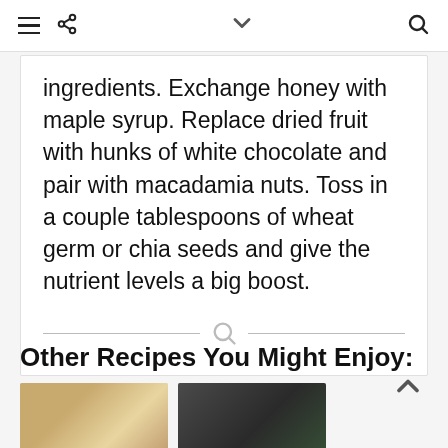Navigation bar with menu, share, dropdown, and search icons
ingredients. Exchange honey with maple syrup. Replace dried fruit with hunks of white chocolate and pair with macadamia nuts. Toss in a couple tablespoons of wheat germ or chia seeds and give the nutrient levels a big boost.
Other Recipes You Might Enjoy:
[Figure (photo): Photo of a baked pie or crumble with golden crust]
[Figure (photo): Photo of a salad with herbs on a dark background]